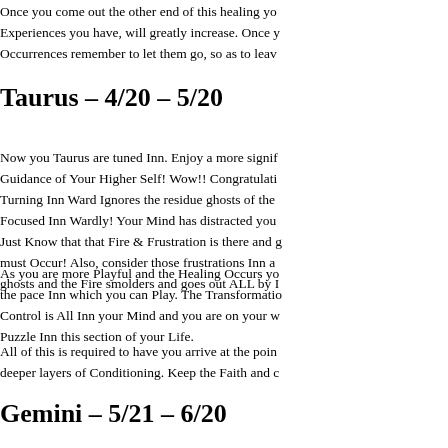Once you come out the other end of this healing yo... Experiences you have, will greatly increase. Once y... Occurrences remember to let them go, so as to leav...
Taurus – 4/20 – 5/20
Now you Taurus are tuned Inn. Enjoy a more signif... Guidance of Your Higher Self! Wow!! Congratulati... Turning Inn Ward Ignores the residue ghosts of the ... Focused Inn Wardly! Your Mind has distracted you... Just Know that that Fire & Frustration is there and g... must Occur! Also, consider those frustrations Inn a... ghosts and the Fire smolders and goes out ALL by I...
As you are more Playful and the Healing Occurs yo... the pace Inn which you can Play. The Transformatio... Control is All Inn your Mind and you are on your w... Puzzle Inn this section of your Life.
All of this is required to have you arrive at the poin... deeper layers of Conditioning. Keep the Faith and c...
Gemini – 5/21 – 6/20